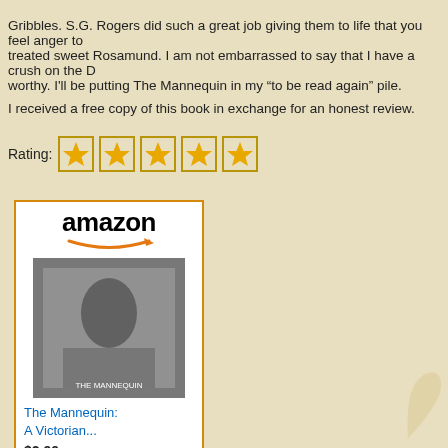Gribbles. S.G. Rogers did such a great job giving them to life that you feel anger to treated sweet Rosamund. I am not embarrassed to say that I have a crush on the D worthy. I'll be putting The Mannequin in my “to be read again” pile.
I received a free copy of this book in exchange for an honest review.
Rating: ★★★★★
[Figure (other): Amazon advertisement widget showing book 'The Mannequin: A Victorian...' priced at $2.99 with a Shop now button]